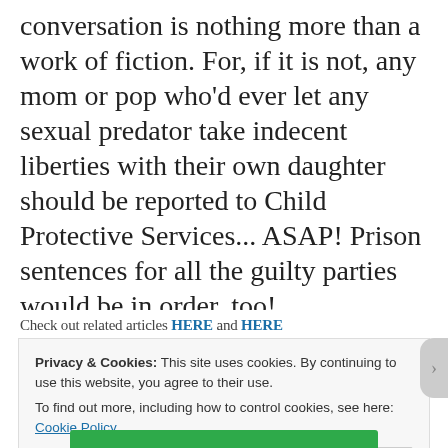conversation is nothing more than a work of fiction. For, if it is not, any mom or pop who'd ever let any sexual predator take indecent liberties with their own daughter should be reported to Child Protective Services... ASAP! Prison sentences for all the guilty parties would be in order, too!
Check out related articles HERE and HERE
Privacy & Cookies: This site uses cookies. By continuing to use this website, you agree to their use. To find out more, including how to control cookies, see here: Cookie Policy